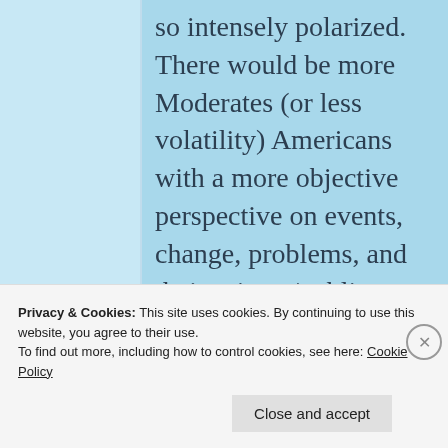so intensely polarized. There would be more Moderates (or less volatility) Americans with a more objective perspective on events, change, problems, and their private/public
Privacy & Cookies: This site uses cookies. By continuing to use this website, you agree to their use.
To find out more, including how to control cookies, see here: Cookie Policy
Close and accept